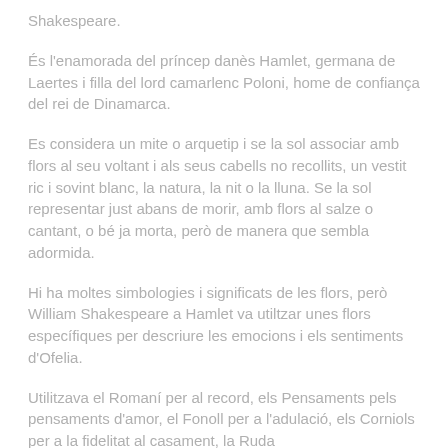Shakespeare.
És l'enamorada del príncep danès Hamlet, germana de Laertes i filla del lord camarlenc Poloni, home de confiança del rei de Dinamarca.
Es considera un mite o arquetip i se la sol associar amb flors al seu voltant i als seus cabells no recollits, un vestit ric i sovint blanc, la natura, la nit o la lluna. Se la sol representar just abans de morir, amb flors al salze o cantant, o bé ja morta, però de manera que sembla adormida.
Hi ha moltes simbologies i significats de les flors, però William Shakespeare a Hamlet va utiltzar unes flors específiques per descriure les emocions i els sentiments d'Ofelia.
Utilitzava el Romaní per al record, els Pensaments pels pensaments d'amor, el Fonoll per a l'adulació, els Corniols per a la fidelitat al casament, la Ruda